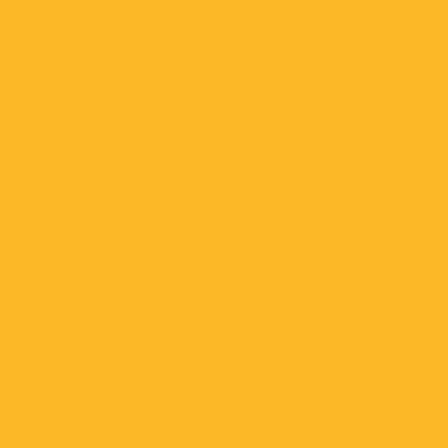[Figure (other): Solid golden yellow background filling the entire page, approximately #FDB827 color.]